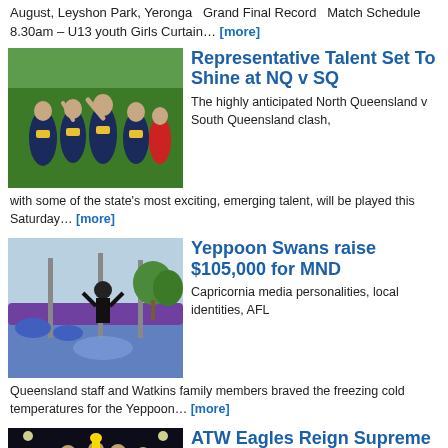August, Leyshon Park, Yeronga   Grand Final Record   Match Schedule 8.30am – U13 youth Girls Curtain… [more]
[Figure (photo): AFL Queensland players in navy/gold uniforms celebrating on a green field]
Representative Talent Set To Shine at NQ v SQ
The highly anticipated North Queensland v South Queensland clash, with some of the state's most exciting, emerging talent, will be played this Saturday… [more]
[Figure (photo): Yeppoon Swans fundraising event with participants in a dunking/freezing tank challenge]
Yeppoon Swans raise $105,000 for MND
Capricornia media personalities, local identities, AFL Queensland staff and Watkins family members braved the freezing cold temperatures for the Yeppoon… [more]
[Figure (photo): ATW Eagles players celebrating at night under lights holding a trophy]
ATW Eagles Reign Supreme